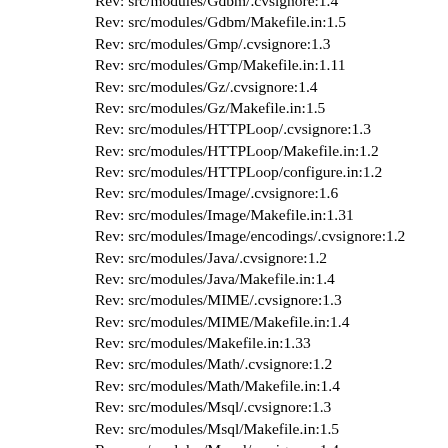Rev: src/modules/Gdbm/.cvsignore:1.4
Rev: src/modules/Gdbm/Makefile.in:1.5
Rev: src/modules/Gmp/.cvsignore:1.3
Rev: src/modules/Gmp/Makefile.in:1.11
Rev: src/modules/Gz/.cvsignore:1.4
Rev: src/modules/Gz/Makefile.in:1.5
Rev: src/modules/HTTPLoop/.cvsignore:1.3
Rev: src/modules/HTTPLoop/Makefile.in:1.2
Rev: src/modules/HTTPLoop/configure.in:1.2
Rev: src/modules/Image/.cvsignore:1.6
Rev: src/modules/Image/Makefile.in:1.31
Rev: src/modules/Image/encodings/.cvsignore:1.2
Rev: src/modules/Java/.cvsignore:1.2
Rev: src/modules/Java/Makefile.in:1.4
Rev: src/modules/MIME/.cvsignore:1.3
Rev: src/modules/MIME/Makefile.in:1.4
Rev: src/modules/Makefile.in:1.33
Rev: src/modules/Math/.cvsignore:1.2
Rev: src/modules/Math/Makefile.in:1.4
Rev: src/modules/Msql/.cvsignore:1.3
Rev: src/modules/Msql/Makefile.in:1.5
Rev: src/modules/Mysql/.cvsignore:1.4
Rev: src/modules/Mysql/Makefile.in:1.5
Rev: src/modules/Odbc/.cvsignore:1.3
Rev: src/modules/Odbc/Makefile.in:1.4
Rev: src/modules/Oracle/.cvsignore:1.2